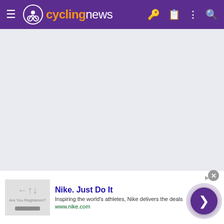[Figure (screenshot): Cyclingnews website navigation bar with purple background, hamburger menu, cycling logo, site name 'cyclingnews', and right-side icons (key, clipboard, dots, search)]
[Figure (other): Grey advertisement placeholder area]
yaco
Jun 20, 2015  11,299  2,278  25,680
[Figure (other): User badge/achievement icons row 1 and row 2]
[Figure (other): Nike advertisement banner: 'Nike. Just Do It' - Inspiring the world's athletes, Nike delivers the deals - www.nike.com]